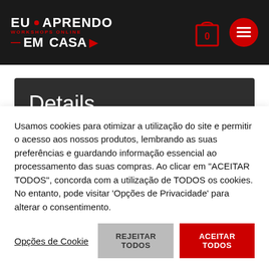EU APRENDO EM CASA — workshops online
Details
Topic:
Usamos cookies para otimizar a utilização do site e permitir o acesso aos nossos produtos, lembrando as suas preferências e guardando informação essencial ao processamento das suas compras. Ao clicar em "ACEITAR TODOS", concorda com a utilização de TODOS os cookies. No entanto, pode visitar 'Opções de Privacidade' para alterar o consentimento.
Opções de Cookie | REJEITAR TODOS | ACEITAR TODOS